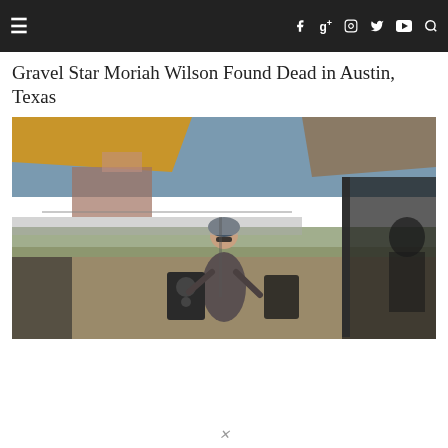≡  f  g+  ○  🐦  ▶  🔍
Gravel Star Moriah Wilson Found Dead in Austin, Texas
[Figure (photo): A cyclist wearing a gray jersey, helmet, and sunglasses stands at an outdoor event venue with tents, speakers, and a rural backdrop with a road and buildings in the background.]
×